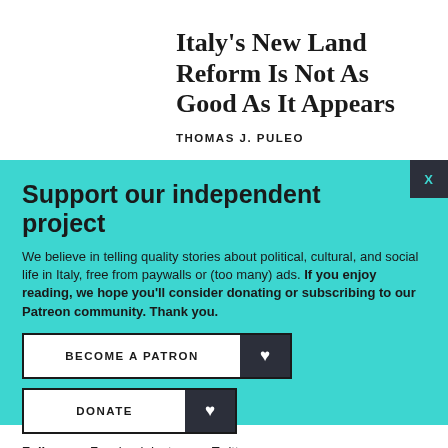Italy’s New Land Reform Is Not As Good As It Appears
THOMAS J. PULEO
Support our independent project
We believe in telling quality stories about political, cultural, and social life in Italy, free from paywalls or (too many) ads. If you enjoy reading, we hope you’ll consider donating or subscribing to our Patreon community. Thank you.
BECOME A PATRON
DONATE
Follow us: Facebook Instagram Twitter